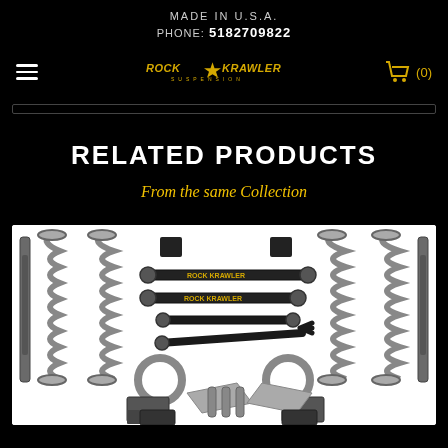MADE IN U.S.A.
PHONE: 5182709822
[Figure (logo): Rock Krawler Suspension logo in yellow/gold text with star]
RELATED PRODUCTS
From the same Collection
[Figure (photo): Rock Krawler suspension lift kit components laid out on white background, including coil springs, control arms, shocks, brackets, sway bar links and hardware]